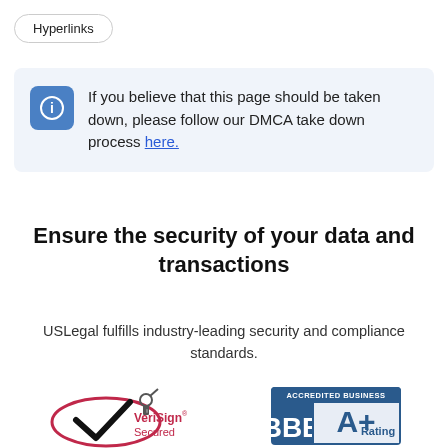Hyperlinks
If you believe that this page should be taken down, please follow our DMCA take down process here.
Ensure the security of your data and transactions
USLegal fulfills industry-leading security and compliance standards.
[Figure (logo): VeriSign Secured badge logo with checkmark]
[Figure (logo): BBB Accredited Business A+ Rating badge]